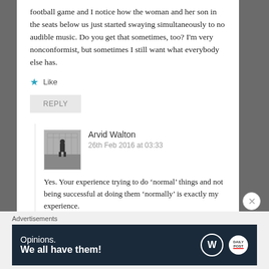football game and I notice how the woman and her son in the seats below us just started swaying simultaneously to no audible music. Do you get that sometimes, too? I'm very nonconformist, but sometimes I still want what everybody else has.
Like
REPLY
Arvid Walton
26th Feb 2016 at 03:33
Yes. Your experience trying to do ‘normal’ things and not being successful at doing them ‘normally’ is exactly my experience.
Advertisements
[Figure (screenshot): WordPress advertisement banner: 'Opinions. We all have them!' with WordPress and DailyPost logos on dark navy background]